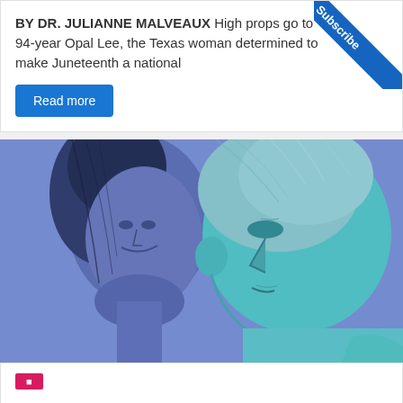BY DR. JULIANNE MALVEAUX High props go to 94-year Opal Lee, the Texas woman determined to make Juneteenth a national
Read more
[Figure (photo): Stylized blue-toned artistic portrait showing two faces: a woman on the left and an older man on the right, rendered in a pop-art blue/teal color scheme]
Subscribe